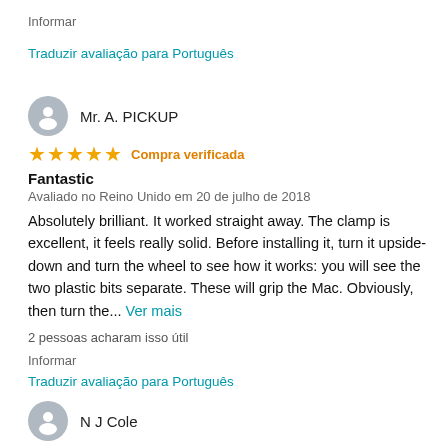Informar
Traduzir avaliação para Português
Mr. A. PICKUP
★★★★★ Compra verificada
Fantastic
Avaliado no Reino Unido em 20 de julho de 2018
Absolutely brilliant. It worked straight away. The clamp is excellent, it feels really solid. Before installing it, turn it upside-down and turn the wheel to see how it works: you will see the two plastic bits separate. These will grip the Mac. Obviously, then turn the... Ver mais
2 pessoas acharam isso útil
Informar
Traduzir avaliação para Português
N J Cole